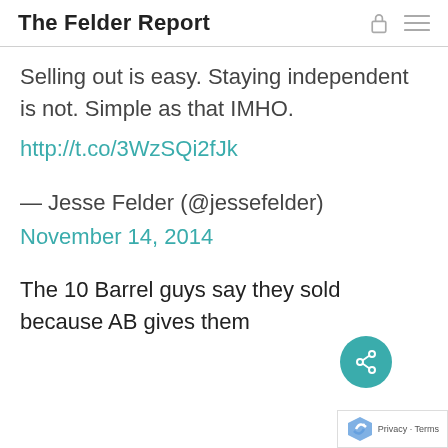The Felder Report
Selling out is easy. Staying independent is not. Simple as that IMHO.
http://t.co/3WzSQi2fJk
— Jesse Felder (@jessefelder)
November 14, 2014
The 10 Barrel guys say they sold because AB gives them